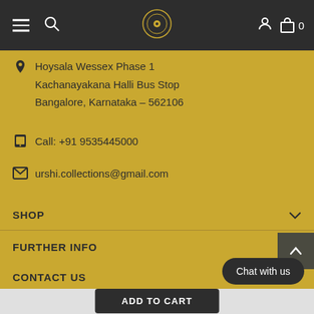Navigation header with hamburger menu, search icon, logo, user icon, and cart (0)
Hoysala Wessex Phase 1
Kachanayakana Halli Bus Stop
Bangalore, Karnataka - 562106
Call: +91 9535445000
urshi.collections@gmail.com
SHOP
FURTHER INFO
CONTACT US
Chat with us
ADD TO CART